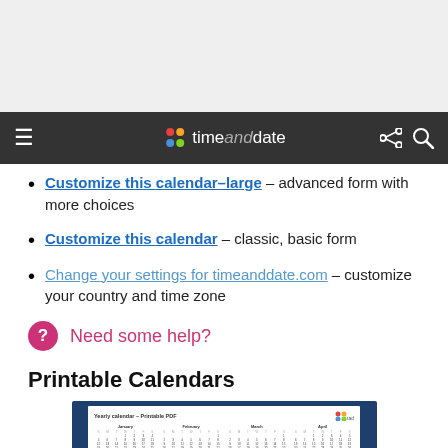timeanddate navigation bar
Customize this calendar–large – advanced form with more choices
Customize this calendar – classic, basic form
Change your settings for timeanddate.com – customize your country and time zone
Need some help?
Printable Calendars
[Figure (screenshot): Printable yearly calendar PDF preview showing months January through August in a small grid layout with timeanddate logo]